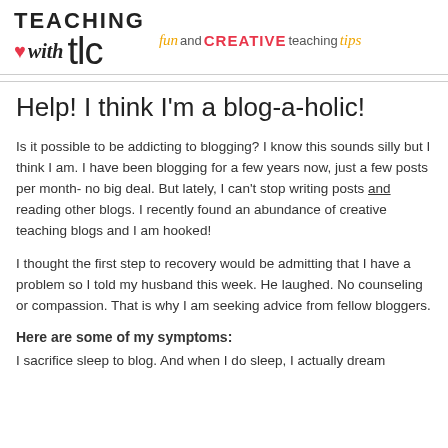[Figure (logo): Teaching with TLC blog logo featuring stylized text and a heart icon, with tagline 'fun and CREATIVE teaching tips']
Help! I think I'm a blog-a-holic!
Is it possible to be addicting to blogging? I know this sounds silly but I think I am. I have been blogging for a few years now, just a few posts per month- no big deal. But lately, I can't stop writing posts and reading other blogs. I recently found an abundance of creative teaching blogs and I am hooked!
I thought the first step to recovery would be admitting that I have a problem so I told my husband this week. He laughed. No counseling or compassion. That is why I am seeking advice from fellow bloggers.
Here are some of my symptoms:
I sacrifice sleep to blog. And when I do sleep, I actually dream